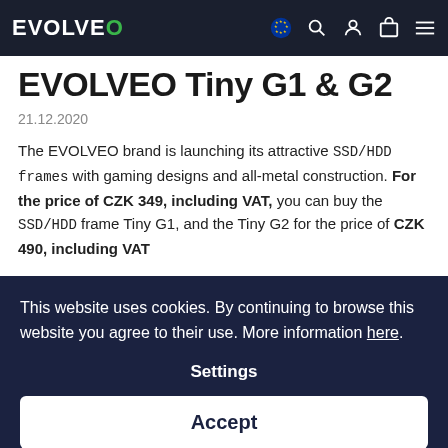EVOLVEO
EVOLVEO Tiny G1 & G2
21.12.2020
The EVOLVEO brand is launching its attractive SSD/HDD frames with gaming designs and all-metal construction. For the price of CZK 349, including VAT, you can buy the SSD/HDD frame Tiny G1, and the Tiny G2 for the price of CZK 490, including VAT
This website uses cookies. By continuing to browse this website you agree to their use. More information here.
Settings
Accept